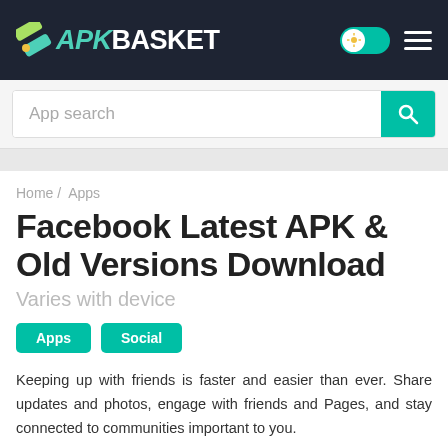APK BASKET
App search
Home / Apps
Facebook Latest APK & Old Versions Download
Varies with device
Apps
Social
Keeping up with friends is faster and easier than ever. Share updates and photos, engage with friends and Pages, and stay connected to communities important to you.
Developer